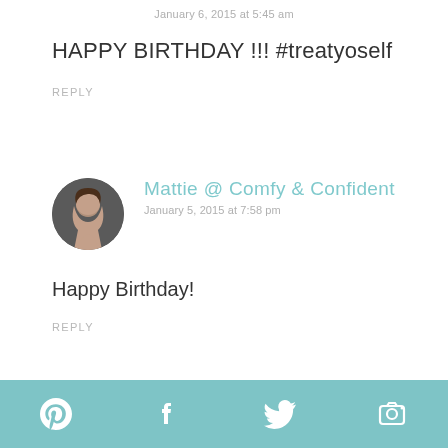January 6, 2015 at 5:45 am
HAPPY BIRTHDAY !!! #treatyoself
REPLY
[Figure (photo): Circular avatar photo of a woman with brown hair]
Mattie @ Comfy & Confident
January 5, 2015 at 7:58 pm
Happy Birthday!
REPLY
Pinterest, Facebook, Twitter, and another social icon